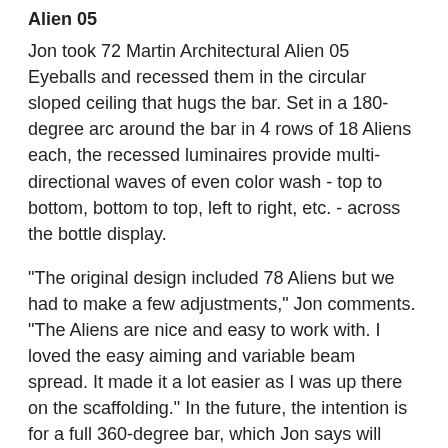Alien 05
Jon took 72 Martin Architectural Alien 05 Eyeballs and recessed them in the circular sloped ceiling that hugs the bar. Set in a 180-degree arc around the bar in 4 rows of 18 Aliens each, the recessed luminaires provide multi-directional waves of even color wash - top to bottom, bottom to top, left to right, etc. - across the bottle display.
"The original design included 78 Aliens but we had to make a few adjustments," Jon comments. "The Aliens are nice and easy to work with. I loved the easy aiming and variable beam spread. It made it a lot easier as I was up there on the scaffolding." In the future, the intention is for a full 360-degree bar, which Jon says will double the amount of Aliens.
One of Martin's West Coast office technicians, Bob Chamberlain, remained on site during the installation